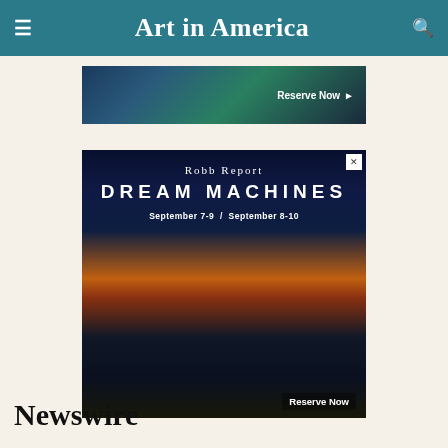Art in America
[Figure (photo): Advertisement banner showing a resort/hotel with 'Reserve Now' button]
[Figure (photo): Robb Report Dream Machines advertisement with resort hotel buildings at night. September 7-9 / September 8-10. Reserve Now button.]
Newswire